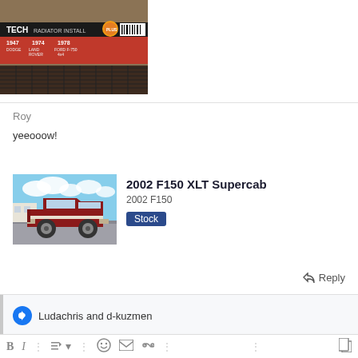[Figure (photo): Partial cropped image of a vintage car/radiator install DVD cover with text '1947 DODGE', '1974 LAND ROVER', '1978 FORD F-750 4x4' visible, red/orange banner]
Roy
yeeooow!
[Figure (photo): Red 2002 Ford F150 XLT Supercab pickup truck parked in a lot with blue sky background]
2002 F150 XLT Supercab
2002 F150
Stock
Reply
Ludachris and d-kuzmen